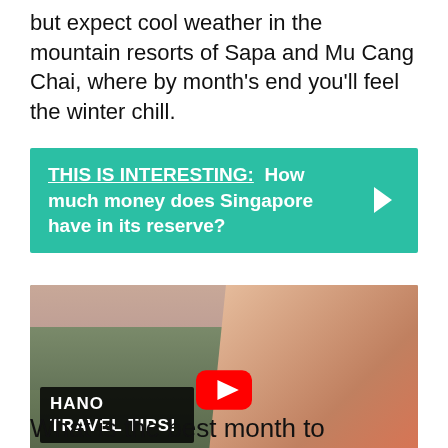but expect cool weather in the mountain resorts of Sapa and Mu Cang Chai, where by month's end you'll feel the winter chill.
THIS IS INTERESTING: How much money does Singapore have in its reserve?
[Figure (screenshot): YouTube video thumbnail showing a woman with blonde hair, a city skyline in the background, and a black text overlay reading 'HANO TRAVEL TIPS!' with a YouTube play button in the center.]
What is the best month to